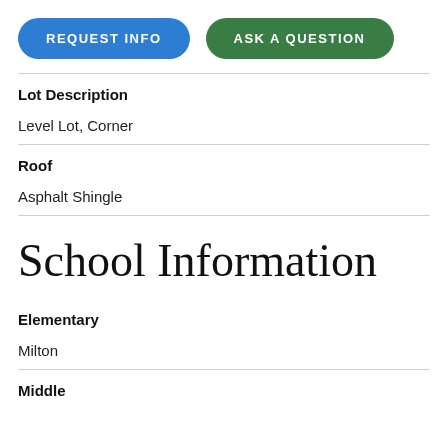[Figure (other): Two buttons: REQUEST INFO (blue pill) and ASK A QUESTION (green pill)]
Lot Description
Level Lot, Corner
Roof
Asphalt Shingle
School Information
Elementary
Milton
Middle